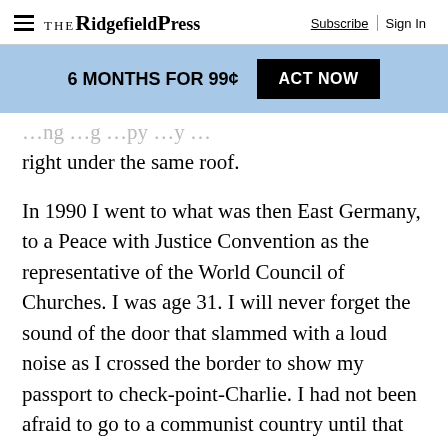The Ridgefield Press — Subscribe | Sign In
6 MONTHS FOR 99¢  ACT NOW
right under the same roof.
In 1990 I went to what was then East Germany, to a Peace with Justice Convention as the representative of the World Council of Churches. I was age 31. I will never forget the sound of the door that slammed with a loud noise as I crossed the border to show my passport to check-point-Charlie. I had not been afraid to go to a communist country until that